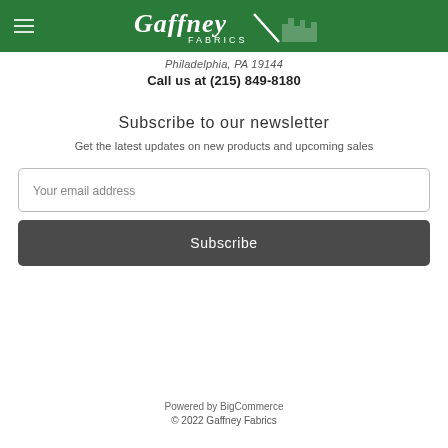Gaffney Fabrics
Philadelphia, PA 19144
Call us at (215) 849-8180
Subscribe to our newsletter
Get the latest updates on new products and upcoming sales
Your email address
Subscribe
Powered by BigCommerce
© 2022 Gaffney Fabrics